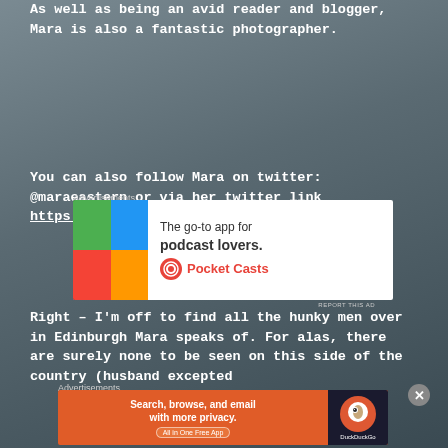As well as being an avid reader and blogger, Mara is also a fantastic photographer.
You can also follow Mara on twitter: @maraeastern or via her twitter link https://twitter.com/MaraEastern
Advertisements
[Figure (other): Pocket Casts advertisement banner: 'The go-to app for podcast lovers.' with colorful grid logo and Pocket Casts branding]
Right – I'm off to find all the hunky men over in Edinburgh Mara speaks of. For alas, there are surely none to be seen on this side of the country (husband excepted
Advertisements
[Figure (other): DuckDuckGo advertisement banner: 'Search, browse, and email with more privacy. All in One Free App' with DuckDuckGo logo on dark background]